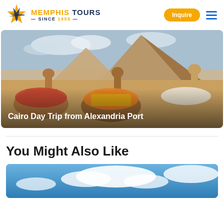Memphis Tours — Since 1955 | Inquire
[Figure (photo): Three camels with colorful decorated saddles in front of the Pyramids of Giza under a cloudy sky, with the text overlay 'Cairo Day Trip from Alexandria Port']
You Might Also Like
[Figure (photo): Partial photo showing a bright blue sky with clouds at the bottom of the page]